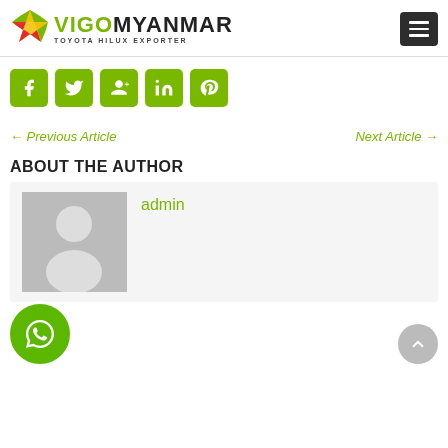[Figure (logo): VigoMyanmar Toyota Hilux Exporter logo with colorful star icon and green/black text]
[Figure (other): Dark grey hamburger menu button with three white horizontal lines]
[Figure (other): Row of 5 green social media icon buttons: Facebook, Twitter, Google+, LinkedIn, Pinterest]
← Previous Article
Next Article →
ABOUT THE AUTHOR
[Figure (photo): Grey placeholder avatar image showing a person silhouette]
admin
[Figure (other): Green circular WhatsApp button with phone/chat icon]
[Figure (other): Grey circular scroll-to-top button with upward arrow]